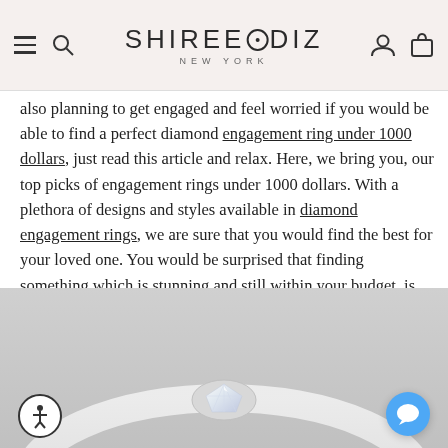SHIREE⊙DIZ NEW YORK
also planning to get engaged and feel worried if you would be able to find a perfect diamond engagement ring under 1000 dollars, just read this article and relax. Here, we bring you, our top picks of engagement rings under 1000 dollars. With a plethora of designs and styles available in diamond engagement rings, we are sure that you would find the best for your loved one. You would be surprised that finding something which is stunning and still within your budget, is no more a problem.
[Figure (photo): Close-up photo of a diamond engagement ring with a white gold band, showing the stone and band against a light background. Accessibility button and chat button visible in corners.]